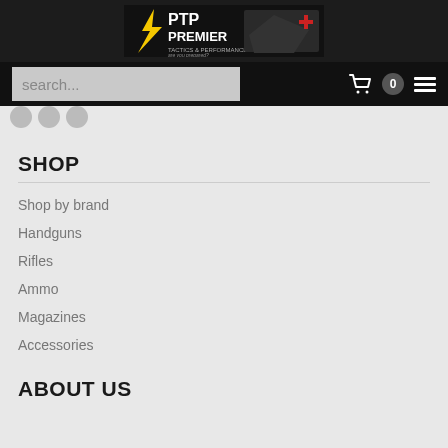[Figure (logo): PTP Premier Tactics & Performance logo banner with dark background and person holding firearm]
search...
SHOP
Shop by brand
Handguns
Rifles
Ammo
Magazines
Accessories
ABOUT US